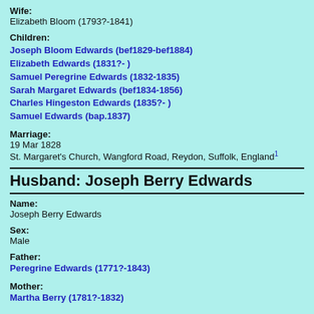Wife:
Elizabeth Bloom (1793?-1841)
Children:
Joseph Bloom Edwards (bef1829-bef1884)
Elizabeth Edwards (1831?- )
Samuel Peregrine Edwards (1832-1835)
Sarah Margaret Edwards (bef1834-1856)
Charles Hingeston Edwards (1835?- )
Samuel Edwards (bap.1837)
Marriage:
19 Mar 1828
St. Margaret's Church, Wangford Road, Reydon, Suffolk, England1
Husband: Joseph Berry Edwards
Name:
Joseph Berry Edwards
Sex:
Male
Father:
Peregrine Edwards (1771?-1843)
Mother:
Martha Berry (1781?-1832)